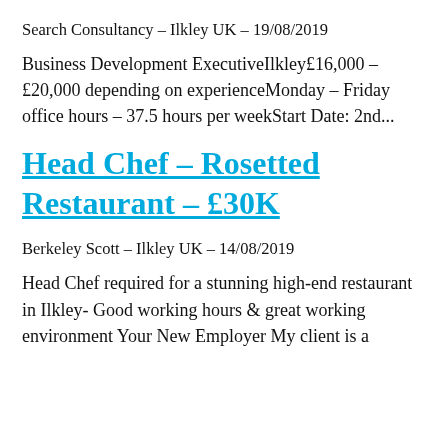Search Consultancy - Ilkley UK - 19/08/2019
Business Development ExecutiveIlkley£16,000 - £20,000 depending on experienceMonday - Friday office hours - 37.5 hours per weekStart Date: 2nd...
Head Chef – Rosetted Restaurant – £30K
Berkeley Scott - Ilkley UK - 14/08/2019
Head Chef required for a stunning high-end restaurant in Ilkley- Good working hours & great working environment Your New Employer My client is a